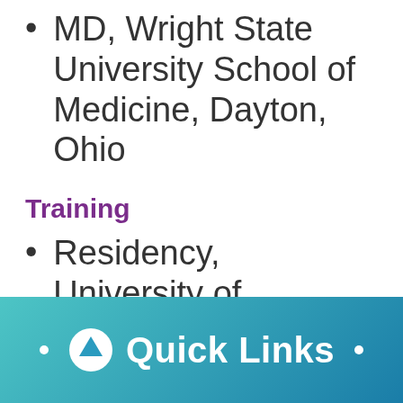MD, Wright State University School of Medicine, Dayton, Ohio
Training
Residency, University of Cincinnati College of Medicine, Cincinnati, Ohio
Fellowship, University of Pittsburgh School of...
[Figure (infographic): Quick Links bar with teal-to-blue gradient background, two white dots on left and right, and a white upward arrow icon followed by bold white text 'Quick Links']